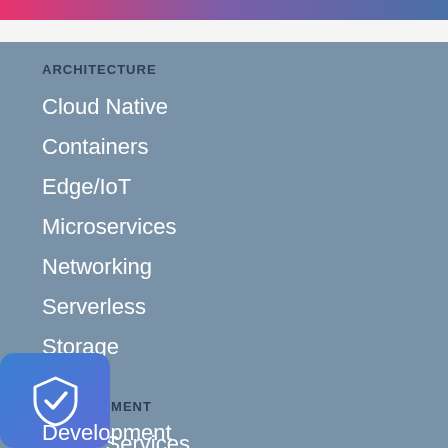ARCHITECTURE
Cloud Native
Containers
Edge/IoT
Microservices
Networking
Serverless
Storage
DEVELOPMENT
Cloud Services
Development